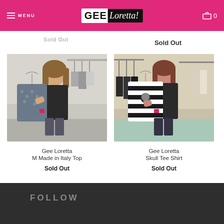MENU | Gee Loretta | 0
Sold Out
Sold Out
[Figure (photo): Woman holding a grey/blue patterned top on a hanger in a clothing store]
Gee Loretta
M Made in Italy Top
Sold Out
[Figure (photo): Woman holding a black and white striped top with skull graphic on a hanger in a clothing store]
Gee Loretta
Skull Tee Shirt
Sold Out
FOLLOW